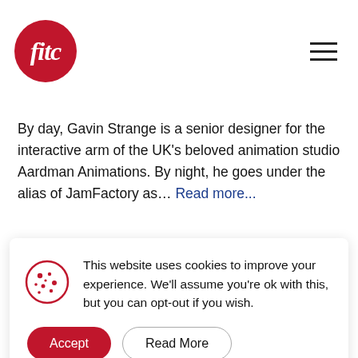fitc logo and navigation
By day, Gavin Strange is a senior designer for the interactive arm of the UK's beloved animation studio Aardman Animations. By night, he goes under the alias of JamFactory as... Read more...
Design
Inspire
Work Better
This website uses cookies to improve your experience. We'll assume you're ok with this, but you can opt-out if you wish. Accept | Read More